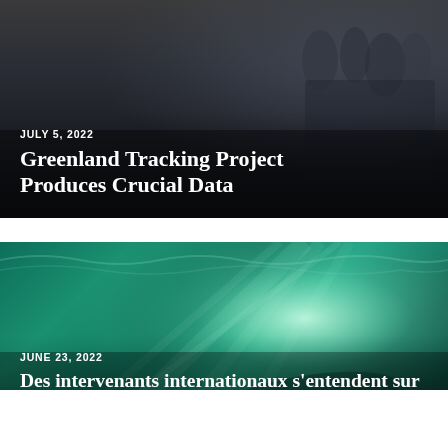[Figure (photo): Dark background photo of people on a boat or dock, related to the Greenland tracking project]
JULY 5, 2022
Greenland Tracking Project Produces Crucial Data
[Figure (photo): Underwater photo of a whale or large marine animal with teal/green water and rays of sunlight from above]
JUNE 23, 2022
Des intervenants internationaux s'entendent sur une meilleure mesure réglementaire pour la pêche au saumon au Groenland